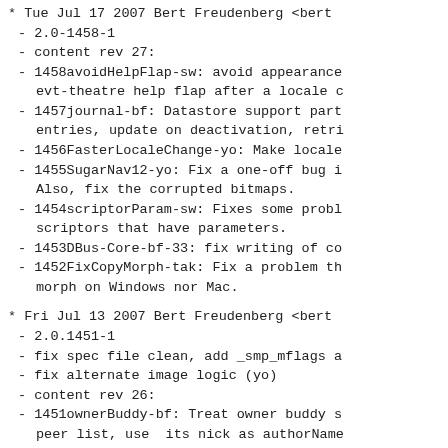* Tue Jul 17 2007 Bert Freudenberg <bert
- 2.0-1458-1
- content rev 27:
- 1458avoidHelpFlap-sw: avoid appearance evt-theatre help flap after a locale c
- 1457journal-bf: Datastore support part entries, update on deactivation, retri
- 1456FasterLocaleChange-yo: Make locale
- 1455SugarNav12-yo: Fix a one-off bug i Also, fix the corrupted bitmaps.
- 1454scriptorParam-sw: Fixes some probl scriptors that have parameters.
- 1453DBus-Core-bf-33: fix writing of co
- 1452FixCopyMorph-tak: Fix a problem th morph on Windows nor Mac.
* Fri Jul 13 2007 Bert Freudenberg <bert
- 2.0.1451-1
- fix spec file clean, add _smp_mflags a
- fix alternate image logic (yo)
- content rev 26:
- 1451ownerBuddy-bf: Treat owner buddy s peer list, use  its nick as authorName
- 1450TransExport2-KR: merge duplicate m